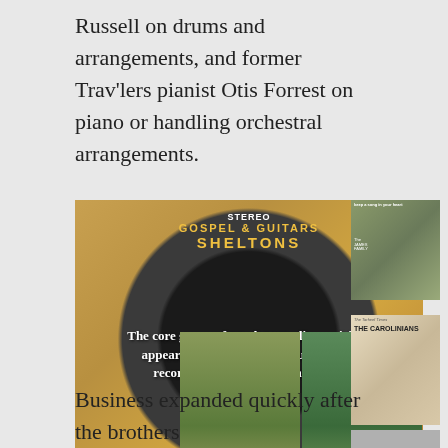Russell on drums and arrangements, and former Trav'lers pianist Otis Forrest on piano or handling orchestral arrangements.
[Figure (photo): Collage of gospel music album covers including 'Gospel & Guitars' by The Sheltons, with a banjo/guitar in the foreground. Overlaid text reads: 'The core group of Mark V Studio musicians appeared on dozens, if not hundreds of records through the '60's and '70's'. Additional smaller album cover images below and to the right including The James Family and The Carolinians.]
Business expanded quickly after the brothers